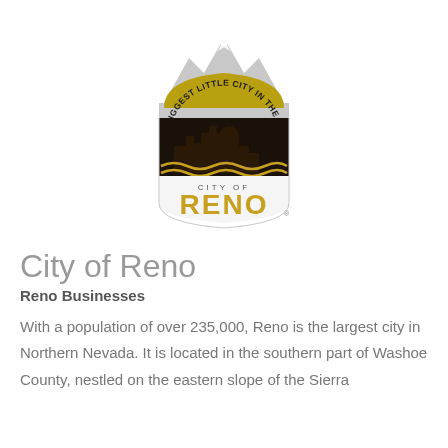[Figure (logo): City of Reno official seal/logo — shield shape with mountain silhouette at top in gray, black background section showing city skyline silhouette and river waves in gold/white, bottom section in black with 'CITY OF' in white small caps and 'RENO' in large gold letters. Circular text around upper arch reads 'BIGGEST LITTLE CITY IN THE WORLD'.]
City of Reno
Reno Businesses
With a population of over 235,000, Reno is the largest city in Northern Nevada. It is located in the southern part of Washoe County, nestled on the eastern slope of the Sierra